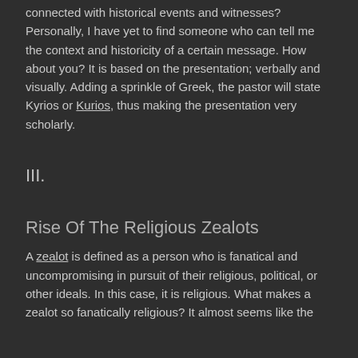connected with historical events and witnesses? Personally, I have yet to find someone who can tell me the context and historicity of a certain message. How about you? It is based on the presentation; verbally and visually. Adding a sprinkle of Greek, the pastor will state Kyrios or Kurios, thus making the presentation very scholarly.
III.
Rise Of The Religious Zealots
A zealot is defined as a person who is fanatical and uncompromising in pursuit of their religious, political, or other ideals. In this case, it is religious. What makes a zealot so fanatically religious? It almost seems like the